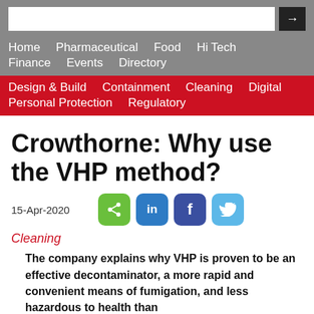Home  Pharmaceutical  Food  Hi Tech  Finance  Events  Directory
Design & Build  Containment  Cleaning  Digital  Personal Protection  Regulatory
Crowthorne: Why use the VHP method?
15-Apr-2020
Cleaning
The company explains why VHP is proven to be an effective decontaminator, a more rapid and convenient means of fumigation, and less hazardous to health than